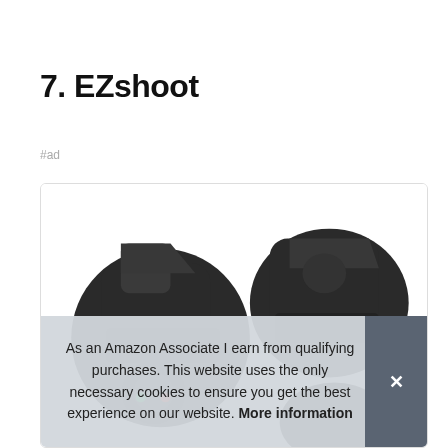7. EZshoot
#ad
[Figure (photo): Product photo of EZshoot camera accessory (black dual grip/bracket) inside a bordered card. A cookie consent overlay reads: As an Amazon Associate I earn from qualifying purchases. This website uses the only necessary cookies to ensure you get the best experience on our website. More information. With a gray X close button.]
As an Amazon Associate I earn from qualifying purchases. This website uses the only necessary cookies to ensure you get the best experience on our website. More information